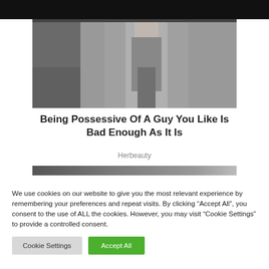[Figure (photo): Photo of a woman in grey outfit against a light background, partially cropped at top of page]
Being Possessive Of A Guy You Like Is Bad Enough As It Is
Herbeauty
[Figure (photo): Partial strip of a second article image, cropped]
We use cookies on our website to give you the most relevant experience by remembering your preferences and repeat visits. By clicking “Accept All”, you consent to the use of ALL the cookies. However, you may visit "Cookie Settings" to provide a controlled consent.